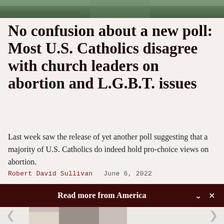[Figure (photo): Top partial image showing outdoor scene with greenery]
No confusion about a new poll: Most U.S. Catholics disagree with church leaders on abortion and L.G.B.T. issues
Last week saw the release of yet another poll suggesting that a majority of U.S. Catholics do indeed hold pro-choice views on abortion.
Robert David Sullivan   June 6, 2022
Read more from America
[Figure (photo): Photo of two Catholic clergy figures, one in white papal vestments and one in black with pink bishop's cap, looking at a document together]
Archbishop Wester: The Catholic Church should...
John Wester